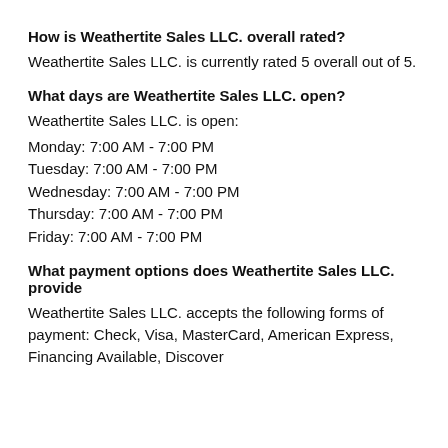How is Weathertite Sales LLC. overall rated?
Weathertite Sales LLC. is currently rated 5 overall out of 5.
What days are Weathertite Sales LLC. open?
Weathertite Sales LLC. is open:
Monday: 7:00 AM - 7:00 PM
Tuesday: 7:00 AM - 7:00 PM
Wednesday: 7:00 AM - 7:00 PM
Thursday: 7:00 AM - 7:00 PM
Friday: 7:00 AM - 7:00 PM
What payment options does Weathertite Sales LLC. provide
Weathertite Sales LLC. accepts the following forms of payment: Check, Visa, MasterCard, American Express, Financing Available, Discover